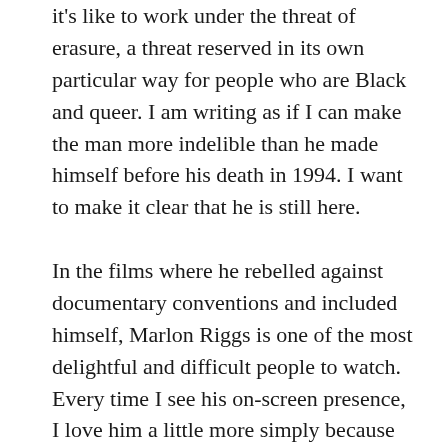it's like to work under the threat of erasure, a threat reserved in its own particular way for people who are Black and queer. I am writing as if I can make the man more indelible than he made himself before his death in 1994. I want to make it clear that he is still here.
In the films where he rebelled against documentary conventions and included himself, Marlon Riggs is one of the most delightful and difficult people to watch. Every time I see his on-screen presence, I love him a little more simply because he is naive enough to believe that his films can do what he means for them to do. And every time I see him, I shake my head at that same naivete. While Riggs's childlike self-determination